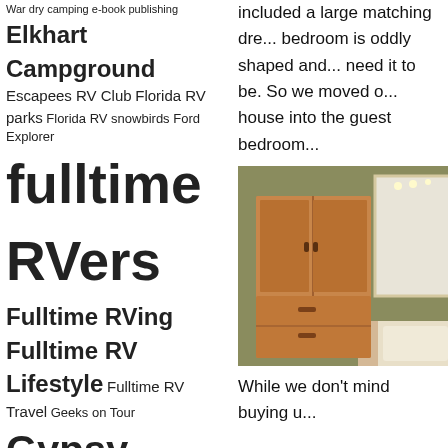Tag cloud with RV/camping blog tags including: War dry camping e-book publishing, Elkhart Campground, Escapees RV Club, Florida RV parks, Florida RV snowbirds, Ford Explorer, fulltime RVers, Fulltime RVing, Fulltime RV Lifestyle, Fulltime RV Travel, Geeks on Tour, Gypsy Journal, Gypsy Journal Rally, Gypsy Journal RV Travel Newspaper, John Lee Quarrels mystery series, MCI Bus Conversion, motorhome, RV, RV Blog, RV camping journal, RV dump station, RVers, RV Lifestyle, RV Park, RV parks, RV Rallies, rv rally, RV Repairs, RV site, RV Snowbirds, RV Travel
included a large matching dre... bedroom is oddly shaped and... need it to be. So we moved o... house into the guest bedroom...
[Figure (photo): Photo of a wooden armoire/wardrobe with two doors and two drawers at the bottom, standing against a wall in a bedroom]
While we don't mind buying u...